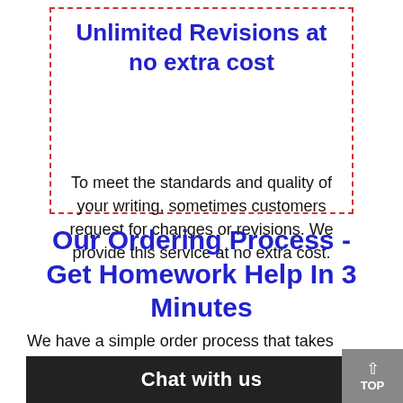Unlimited Revisions at no extra cost
To meet the standards and quality of your writing, sometimes customers request for changes or revisions. We provide this service at no extra cost.
Our Ordering Process - Get Homework Help In 3 Minutes
We have a simple order process that takes about 3 m...mply fill in